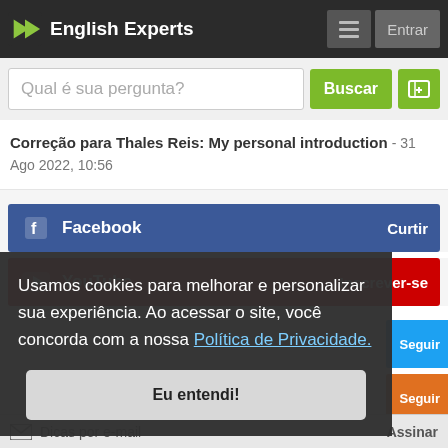English Experts
Qual é sua pergunta?
Buscar
Correção para Thales Reis: My personal introduction - 31 Ago 2022, 10:56
Facebook  Curtir
YouTube  Inscrever-se
Usamos cookies para melhorar e personalizar sua experiência. Ao acessar o site, você concorda com a nossa Política de Privacidade.
Eu entendi!
Seguir
Seguir
Seguir
Dicas por e-mail  Assinar